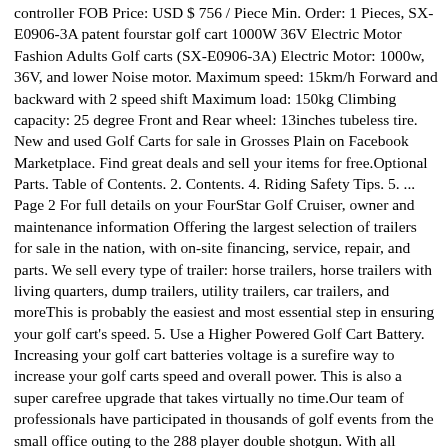controller FOB Price: USD $ 756 / Piece Min. Order: 1 Pieces, SX-E0906-3A patent fourstar golf cart 1000W 36V Electric Motor Fashion Adults Golf carts (SX-E0906-3A) Electric Motor: 1000w, 36V, and lower Noise motor. Maximum speed: 15km/h Forward and backward with 2 speed shift Maximum load: 150kg Climbing capacity: 25 degree Front and Rear wheel: 13inches tubeless tire. New and used Golf Carts for sale in Grosses Plain on Facebook Marketplace. Find great deals and sell your items for free.Optional Parts. Table of Contents. 2. Contents. 4. Riding Safety Tips. 5. ... Page 2 For full details on your FourStar Golf Cruiser, owner and maintenance information Offering the largest selection of trailers for sale in the nation, with on-site financing, service, repair, and parts. We sell every type of trailer: horse trailers, horse trailers with living quarters, dump trailers, utility trailers, car trailers, and moreThis is probably the easiest and most essential step in ensuring your golf cart's speed. 5. Use a Higher Powered Golf Cart Battery. Increasing your golf cart batteries voltage is a surefire way to increase your golf carts speed and overall power. This is also a super carefree upgrade that takes virtually no time.Our team of professionals have participated in thousands of golf events from the small office outing to the 288 player double shotgun. With all inclusive packages, we make the event easy to coordinate and will deliver a successful and fun filled day. With special attention paid to customer service and course conditions, our goal is to ensure ...The ELLWEE is extremely efficient and was made for adventure and aims to be the leader in the electric 4-wheeler class. Available